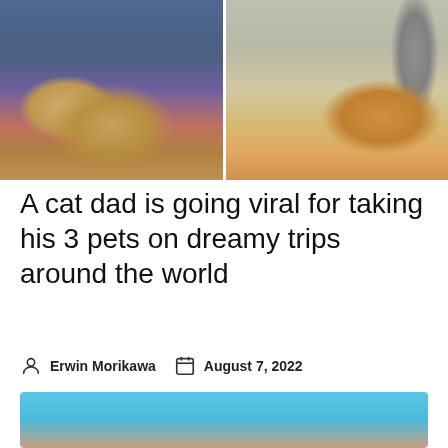[Figure (photo): Two photos side by side: left shows a man holding two cats on his shoulders in Times Square, New York; right shows a cat in a pink sweater being held up near the Eiffel Tower in Paris]
A cat dad is going viral for taking his 3 pets on dreamy trips around the world
Erwin Morikawa   August 7, 2022
[Figure (photo): A cat photographed against a blue background, partially visible at bottom of page]